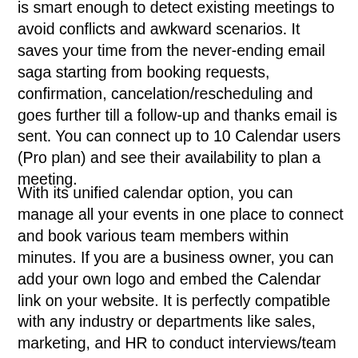is smart enough to detect existing meetings to avoid conflicts and awkward scenarios. It saves your time from the never-ending email saga starting from booking requests, confirmation, cancelation/rescheduling and goes further till a follow-up and thanks email is sent. You can connect up to 10 Calendar users (Pro plan) and see their availability to plan a meeting.
With its unified calendar option, you can manage all your events in one place to connect and book various team members within minutes. If you are a business owner, you can add your own logo and embed the Calendar link on your website. It is perfectly compatible with any industry or departments like sales, marketing, and HR to conduct interviews/team sessions with customized